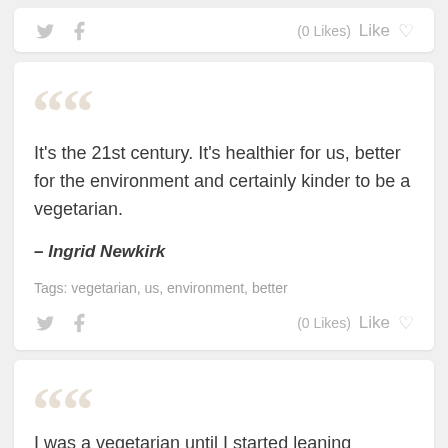[Figure (screenshot): Social sharing bar with Twitter and Facebook icons and (0 Likes) Like heart button]
It's the 21st century. It's healthier for us, better for the environment and certainly kinder to be a vegetarian.
— Ingrid Newkirk
Tags: vegetarian, us, environment, better
[Figure (screenshot): Social sharing bar with Twitter and Facebook icons and (0 Likes) Like heart button]
I was a vegetarian until I started leaning